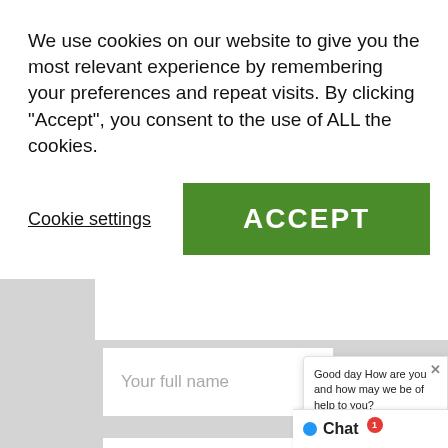We use cookies on our website to give you the most relevant experience by remembering your preferences and repeat visits. By clicking “Accept”, you consent to the use of ALL the cookies.
Cookie settings
ACCEPT
Your full name
E-mail address
Website
Good day How are you and how may we be of help to you?
Natures Gentle Just Touch just now
Chat